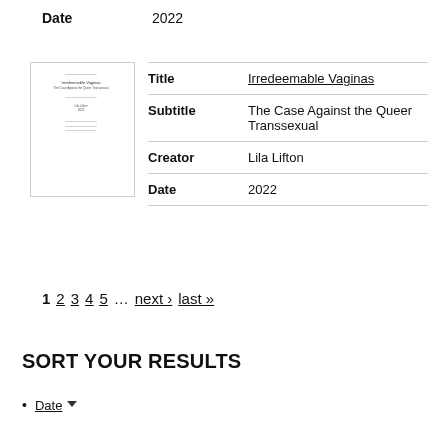Date  2022
| Field | Value |
| --- | --- |
| Title | Irredeemable Vaginas |
| Subtitle | The Case Against the Queer Transsexual |
| Creator | Lila Lifton |
| Date | 2022 |
1  2  3  4  5  …  next›  last»
SORT YOUR RESULTS
Date ▼